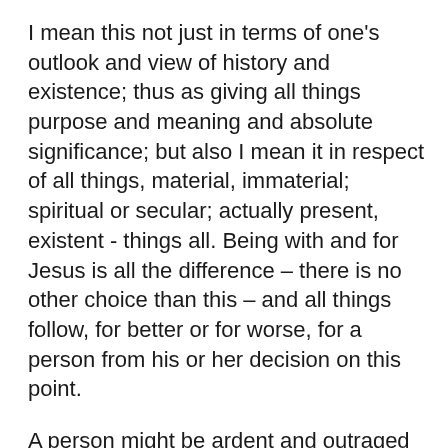I mean this not just in terms of one's outlook and view of history and existence; thus as giving all things purpose and meaning and absolute significance; but also I mean it in respect of all things, material, immaterial; spiritual or secular; actually present, existent - things all. Being with and for Jesus is all the difference – there is no other choice than this – and all things follow, for better or for worse, for a person from his or her decision on this point.
A person might be ardent and outraged at the impoverisment and sickness and dearth for a third of the peoples of the world, as is, and has been throughout my lifetime, the state of The World. A person might opt for Marxism or Socialism or a Cooperative or a Communal solution to this suffering; and thus allow a set of ideas, an ideology,